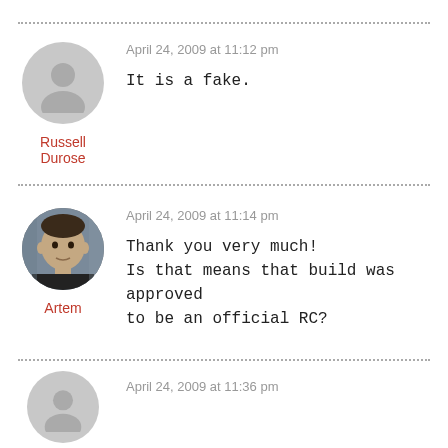April 24, 2009 at 11:12 pm
It is a fake.
Russell Durose
April 24, 2009 at 11:14 pm
Thank you very much!
Is that means that build was approved to be an official RC?
Artem
April 24, 2009 at 11:36 pm